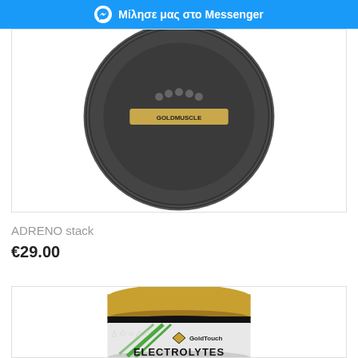Μίλησε μας στο Messenger
[Figure (photo): ADRENO stack supplement container, dark metallic lid, top portion visible]
ADRENO stack
€29.00
[Figure (photo): GoldTouch Electrolytes supplement container with gold lid and green graphical label, partially visible showing ELECTROLYTES text]